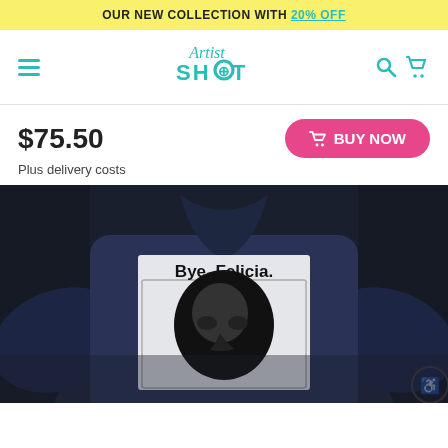OUR NEW COLLECTION WITH 20% OFF
[Figure (logo): Artist Shot logo with teal script and block text]
$75.50
Plus delivery costs
BUY NOW
[Figure (photo): Dark denim jacket shown from the back, with a printed graphic patch reading 'Bye, Felicia.' above a black and white portrait illustration]